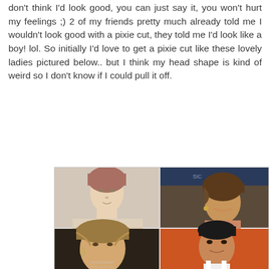don't think I'd look good, you can just say it, you won't hurt my feelings ;) 2 of my friends pretty much already told me I wouldn't look good with a pixie cut, they told me I'd look like a boy! lol. So initially I'd love to get a pixie cut like these lovely ladies pictured below.. but I think my head shape is kind of weird so I don't know if I could pull it off.
[Figure (photo): A collage of 5 celebrity photos showing various pixie cut hairstyles. Top row: woman with short red pixie cut (left), smiling woman with short brown layered hair (right). Middle: large photo of woman with blonde/brown layered pixie cut, and woman with very short dark pixie cut on orange background (right). Bottom partial row: two more partially visible photos.]